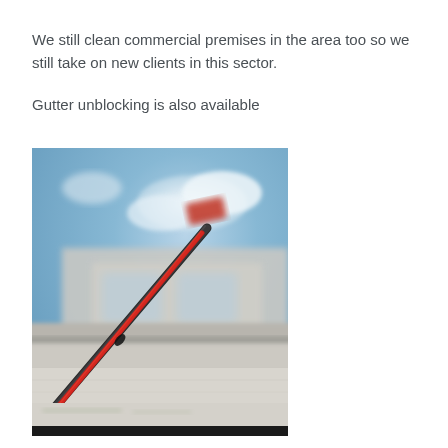We still clean commercial premises in the area too so we still take on new clients in this sector.

Gutter unblocking is also available
[Figure (photo): Close-up photo of a gutter cleaning pole/tool (dark grey pole with a red hose) positioned along the edge of a building gutter, with a blurred building facade and blue sky in the background.]